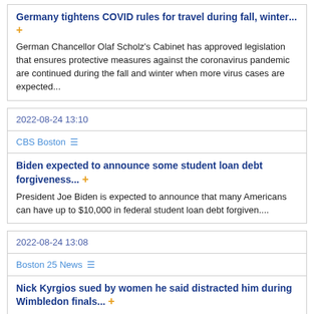Germany tightens COVID rules for travel during fall, winter...
German Chancellor Olaf Scholz's Cabinet has approved legislation that ensures protective measures against the coronavirus pandemic are continued during the fall and winter when more virus cases are expected...
2022-08-24 13:10
CBS Boston
Biden expected to announce some student loan debt forgiveness...
President Joe Biden is expected to announce that many Americans can have up to $10,000 in federal student loan debt forgiven....
2022-08-24 13:08
Boston 25 News
Nick Kyrgios sued by women he said distracted him during Wimbledon finals...
"I know exactly which one it is, it's the one with the dress, the one who looks like she's had about 700 drinks, bro." Tennis star is being sued for what he said about a woman....